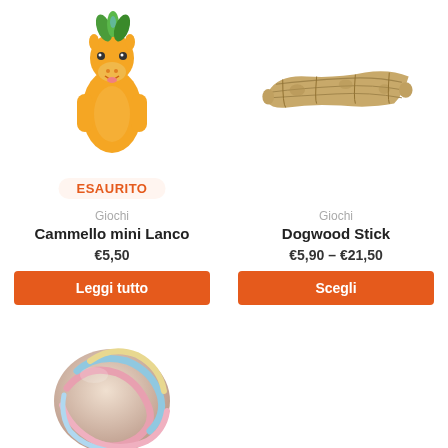[Figure (illustration): Orange camel rubber toy with green leaf decoration on head, cartoon style, with 'ESAURITO' (out of stock) badge below it]
[Figure (photo): Dogwood stick dog chew toy, natural wood-colored, elongated stick shape]
Giochi
Cammello mini Lanco
€5,50
Leggi tutto
Giochi
Dogwood Stick
€5,90 – €21,50
Scegli
[Figure (photo): Colorful braided rope ball dog toy in pastel pink, blue, and yellow colors, partially visible at bottom of page]